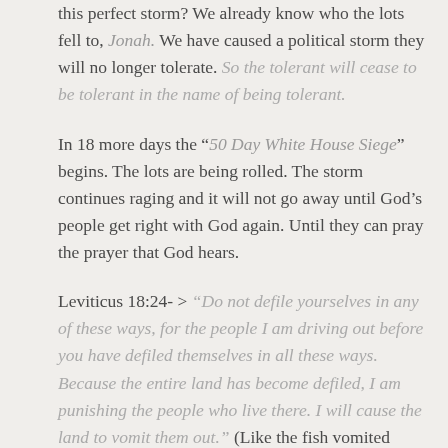this perfect storm? We already know who the lots fell to, Jonah. We have caused a political storm they will no longer tolerate. So the tolerant will cease to be tolerant in the name of being tolerant.
In 18 more days the “50 Day White House Siege” begins. The lots are being rolled. The storm continues raging and it will not go away until God’s people get right with God again. Until they can pray the prayer that God hears.
Leviticus 18:24- > “Do not defile yourselves in any of these ways, for the people I am driving out before you have defiled themselves in all these ways. Because the entire land has become defiled, I am punishing the people who live there. I will cause the land to vomit them out.” (Like the fish vomited Jonah?)
The land is defiled with hate, violence, lies, murder of